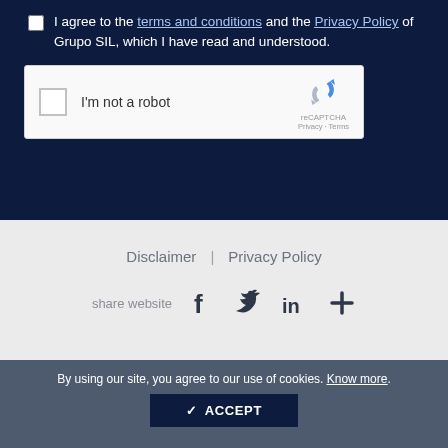I agree to the terms and conditions and the Privacy Policy of Grupo SIL, which I have read and understood.
[Figure (screenshot): reCAPTCHA widget with checkbox labeled I'm not a robot and reCAPTCHA logo with Privacy and Terms links]
Disclaimer  |  Privacy Policy
share website
[Figure (infographic): Social media share icons: Facebook, Twitter, LinkedIn, and a plus icon]
By using our site, you agree to our use of cookies. Know more.
✔ ACCEPT